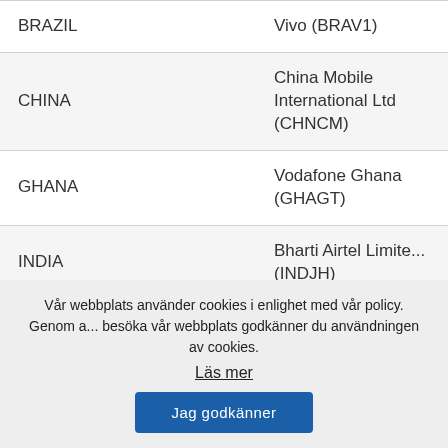| Country | Operator |
| --- | --- |
| BRAZIL | Vivo (BRAV1) |
| CHINA | China Mobile International Ltd (CHNCM) |
| GHANA | Vodafone Ghana (GHAGT) |
| INDIA | Bharti Airtel Limited (INDJH) |
| INDIA | Vodafone Idea Lim... |
Vår webbplats använder cookies i enlighet med vår policy. Genom att besöka vår webbplats godkänner du användningen av cookies.
Läs mer
Jag godkänner